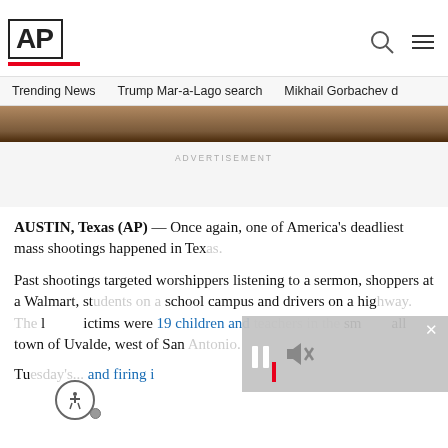AP
Trending News   Trump Mar-a-Lago search   Mikhail Gorbachev d
[Figure (photo): Photo strip showing feet/legs on ground, partial image cropped at top]
ADVERTISEMENT
AUSTIN, Texas (AP) — Once again, one of America's deadliest mass shootings happened in Texas.
Past shootings targeted worshippers listening to a sermon, shoppers at a Walmart, students on a school campus and drivers on a highway. The latest victims were 19 children and 2 teachers in the small town of Uvalde, west of San Antonio.
Tuesday's massacre and firing...